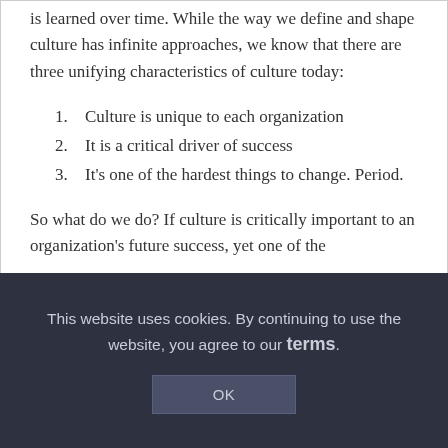is learned over time. While the way we define and shape culture has infinite approaches, we know that there are three unifying characteristics of culture today:
Culture is unique to each organization
It is a critical driver of success
It's one of the hardest things to change. Period.
So what do we do? If culture is critically important to an organization's future success, yet one of the
This website uses cookies. By continuing to use the website, you agree to our terms.
OK